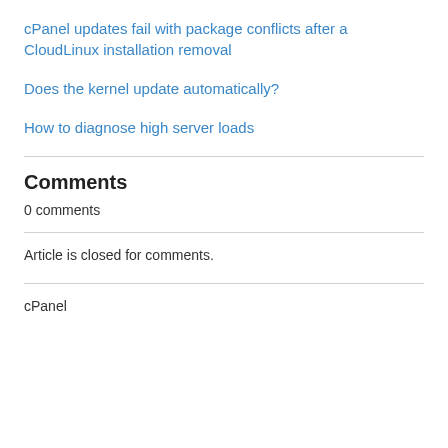cPanel updates fail with package conflicts after a CloudLinux installation removal
Does the kernel update automatically?
How to diagnose high server loads
Comments
0 comments
Article is closed for comments.
cPanel